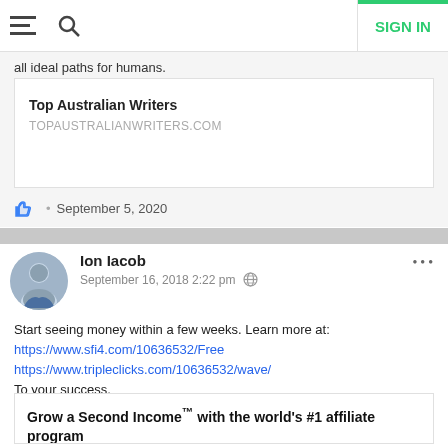SIGN IN
all ideal paths for humans.
Top Australian Writers
TOPAUSTRALIANWRITERS.COM
September 5, 2020
Ion Iacob
September 16, 2018 2:22 pm
Start seeing money within a few weeks. Learn more at:
https://www.sfi4.com/10636532/Free
https://www.tripleclicks.com/10636532/wave/
To your success,
Grow a Second Income™ with the world's #1 affiliate program
www.sfi4.com